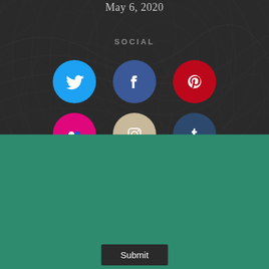May 6, 2020
SOCIAL
[Figure (infographic): Social media icons row 1: Twitter (blue), Facebook (dark blue), Pinterest (red)]
[Figure (infographic): Social media icons row 2 (partially visible): Flickr (pink), Instagram (beige), Tumblr (dark blue)]
Sign me up! I want to know more about MEJDI's socially conscious tours.
Type your name
Type your email
Submit